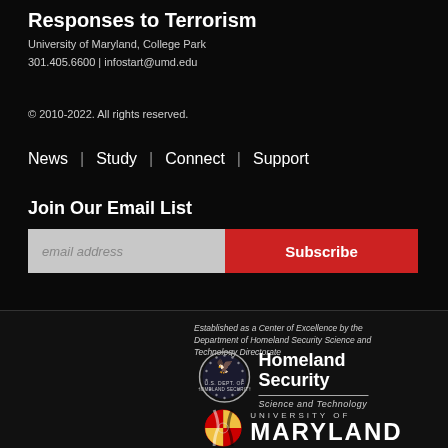Responses to Terrorism
University of Maryland, College Park
301.405.6600 | infostart@umd.edu
© 2010-2022. All rights reserved.
News | Study | Connect | Support
Join Our Email List
email address  Subscribe
Established as a Center of Excellence by the Department of Homeland Security Science and Technology Directorate
[Figure (logo): Department of Homeland Security badge/seal logo with Homeland Security Science and Technology wordmark]
[Figure (logo): University of Maryland seal with UNIVERSITY OF MARYLAND wordmark]